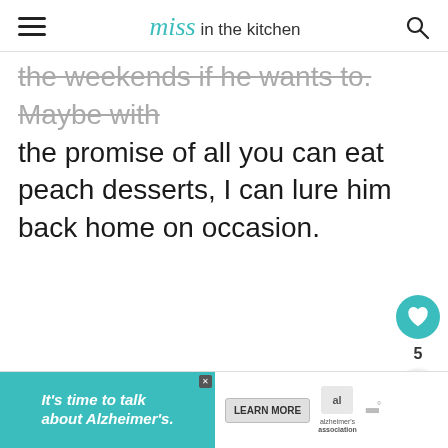Miss in the kitchen
the weekends if he wants to. Maybe with the promise of all you can eat peach desserts, I can lure him back home on occasion.
[Figure (screenshot): Floating action buttons: heart/like icon (teal circle), count of 5, share icon (light gray circle)]
[Figure (screenshot): What's Next panel with waffle image thumbnail and text 'WHAT'S NEXT → Waffle Wednesday:...']
[Figure (screenshot): Advertisement banner: teal background with text 'It's time to talk about Alzheimer's.' with Learn More button and Alzheimer's Association logo]